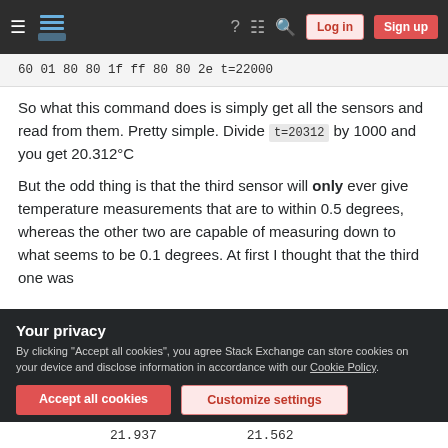Stack Exchange navigation bar with hamburger, logo, help, chat, search, Log in, Sign up
60 01 80 80 1f ff 80 80 2e t=22000
So what this command does is simply get all the sensors and read from them. Pretty simple. Divide t=20312 by 1000 and you get 20.312°C
But the odd thing is that the third sensor will only ever give temperature measurements that are to within 0.5 degrees, whereas the other two are capable of measuring down to what seems to be 0.1 degrees. At first I thought that the third one was
Your privacy
By clicking "Accept all cookies", you agree Stack Exchange can store cookies on your device and disclose information in accordance with our Cookie Policy.
21.937    21.562